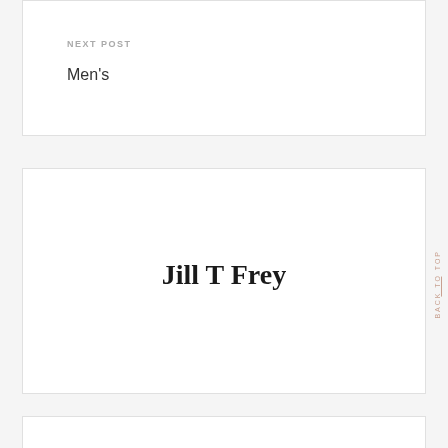NEXT POST
Men's
Jill T Frey
BACK TO TOP